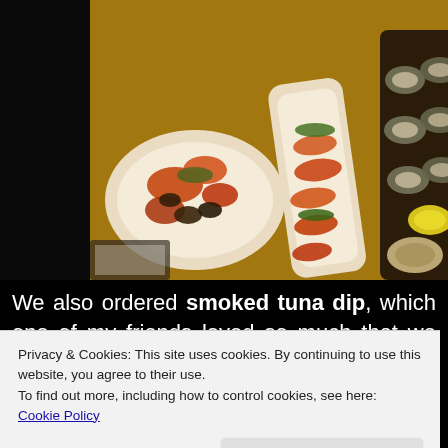[Figure (photo): Overhead view of seafood dishes on a restaurant table: a white bowl with crabs/mussels, a long white plate with grilled shrimp garnished with herbs, and a dark tray with oysters on the half shell with lemon wedges.]
We also ordered smoked tuna dip, which one of my friends loved so much that we did a second round of it. I always recommend their
Privacy & Cookies: This site uses cookies. By continuing to use this website, you agree to their use.
To find out more, including how to control cookies, see here: Cookie Policy
Added to that some royal red shrimp, grilled